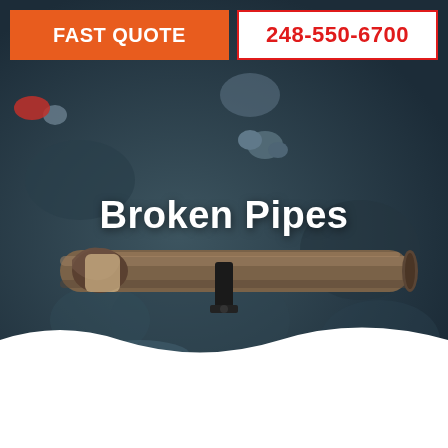[Figure (photo): Overhead view of a broken underground pipe in a dirt excavation trench, with a black pipe clamp visible. The image has a dark blue-grey tint showing disturbed soil and pipe damage.]
FAST QUOTE
248-550-6700
Broken Pipes